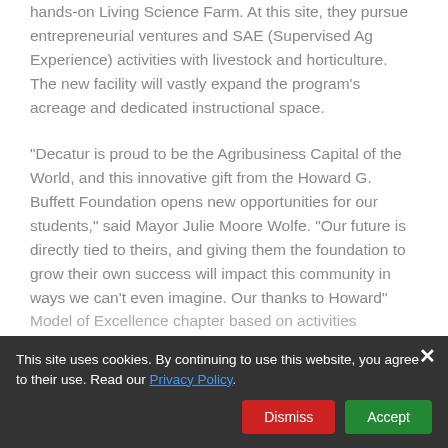hands-on Living Science Farm. At this site, they pursue entrepreneurial ventures and SAE (Supervised Ag Experience) activities with livestock and horticulture. The new facility will vastly expand the program's acreage and dedicated instructional space.
“Decatur is proud to be the Agribusiness Capital of the World, and this innovative gift from the Howard G. Buffett Foundation opens new opportunities for our students,” said Mayor Julie Moore Wolfe. “Our future is directly tied to theirs, and giving them the foundation to grow their own success will impact this community in ways we can’t even imagine. Our thanks to Howard”
Model of Excellence chapter based on activities
This site uses cookies. By continuing to use this website, you agree to their use. Read our Privacy Policy.